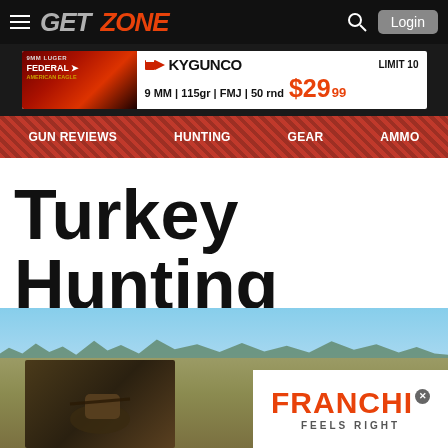GETZONE — Login
[Figure (screenshot): Advertisement banner: KYGUNCO — Federal 9MM 115gr FMJ 50rnd $29.99 LIMIT 10]
GUN REVIEWS
HUNTING
GEAR
AMMO
Turkey Hunting
[Figure (photo): Hero landscape photo showing open fields under blue sky with treeline, hunters in foreground, and a FRANCHI Feels Right advertisement overlay]
[Figure (logo): FRANCHI Feels Right advertisement overlay — orange text on white background]